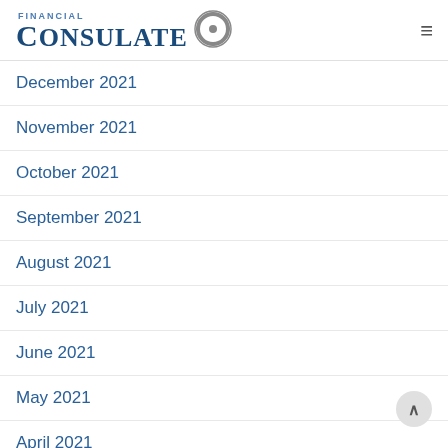Financial Consulate
December 2021
November 2021
October 2021
September 2021
August 2021
July 2021
June 2021
May 2021
April 2021
March 2021